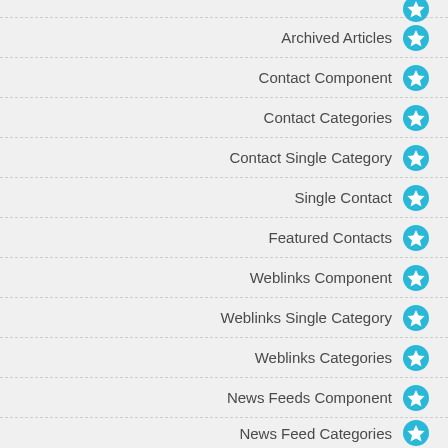(partial top item)
Archived Articles
Contact Component
Contact Categories
Contact Single Category
Single Contact
Featured Contacts
Weblinks Component
Weblinks Single Category
Weblinks Categories
News Feeds Component
News Feed Categories